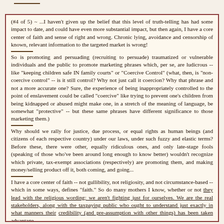(#4 of 5) ~ ...I haven't given up the belief that this level of truth-telling has had some impact to date, and could have even more substantial impact, but then again, I have a core center of faith and sense of right and wrong. Chronic lying, avoidance and censorship of known, relevant information to the targeted market is wrong!
So is promoting and persuading (recruiting to persuade) traumatized or vulnerable individuals and the public to promote marketing phrases which, per se, are ludicrous -- like "keeping children safe IN family courts" or "Coercive Control" (what, then, is "non-coercive control" -- is it still control? Why not just call it coercion? Why that phrase and not a more accurate one? Sure, the experience of being inappropriately controlled to the point of enslavement could be called "coercive" like trying to prevent one's children from being kidnapped or abused might make one, in a stretch of the meaning of language, be somewhat "protective" -- but these same phrases have different significance to those marketing them.)
Why should we rally for justice, due process, or equal rights as human beings (and citizens of each respective country) under our laws, under such fuzzy and elastic terms? Before these, there were other, equally ridiculous ones, and only late-stage fools (speaking of those who've been around long enough to know better) wouldn't recognize which private, tax-exempt associations (respectively) are promoting them, and making money/selling product off it, both coming, and going...
I have a core center of faith -- not gullibility, not religiosity, and not circumstance-based -- which in some ways, defines "faith." So do many mothers I know, whether or not they lead with the religious wording: we aren't fighting just for ourselves. We are the real stakeholders, along with the taxpaying public who ought to understand just exactly in what manners their credibility (and pre-assumption with other things) has been taken advantage